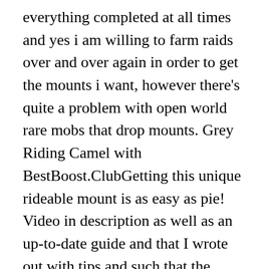everything completed at all times and yes i am willing to farm raids over and over again in order to get the mounts i want, however there's quite a problem with open world rare mobs that drop mounts. Grey Riding Camel with BestBoost.ClubGetting this unique rideable mount is as easy as pie! Video in description as well as an up-to-date guide and that I wrote out with tips and such that the video fails to mention. 11. You down him, loot Reins of the Grey Riding Camel, and watch the feat of strength ding on your screen as you sit back and think, "Did that really just happen?" Camel services will be continuing soon. Comment by Shenzi Do you have to complete